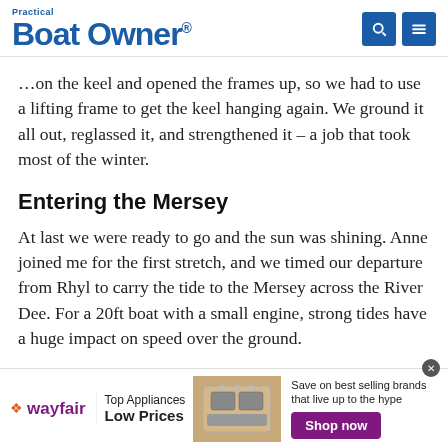Practical Boat Owner
When left on the ground, this had placed strain on the keel and opened the frames up, so we had to use a lifting frame to get the keel hanging again. We ground it all out, reglassed it, and strengthened it – a job that took most of the winter.
Entering the Mersey
At last we were ready to go and the sun was shining. Anne joined me for the first stretch, and we timed our departure from Rhyl to carry the tide to the Mersey across the River Dee. For a 20ft boat with a small engine, strong tides have a huge impact on speed over the ground.
[Figure (other): Wayfair advertisement banner showing appliances with 'Top Appliances Low Prices' and 'Shop now' button]